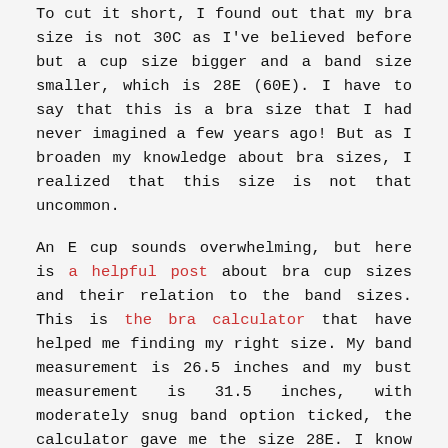To cut it short, I found out that my bra size is not 30C as I've believed before but a cup size bigger and a band size smaller, which is 28E (60E). I have to say that this is a bra size that I had never imagined a few years ago! But as I broaden my knowledge about bra sizes, I realized that this size is not that uncommon.
An E cup sounds overwhelming, but here is a helpful post about bra cup sizes and their relation to the band sizes. This is the bra calculator that have helped me finding my right size. My band measurement is 26.5 inches and my bust measurement is 31.5 inches, with moderately snug band option ticked, the calculator gave me the size 28E. I know that there are a lot of ways for finding the band sizes, one of them is adding several inches to the underbust measurements. Well, this doesn't work. Band measurement is the same as underbust measurement, it is that simple.
Unfortunately the smallest band size for from Merckwaerdigh and Pin-Up Girls bra pattern is 30. As the cup